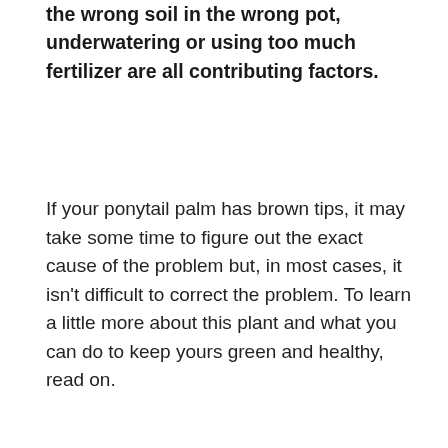the wrong soil in the wrong pot, underwatering or using too much fertilizer are all contributing factors.
If your ponytail palm has brown tips, it may take some time to figure out the exact cause of the problem but, in most cases, it isn't difficult to correct the problem. To learn a little more about this plant and what you can do to keep yours green and healthy, read on.